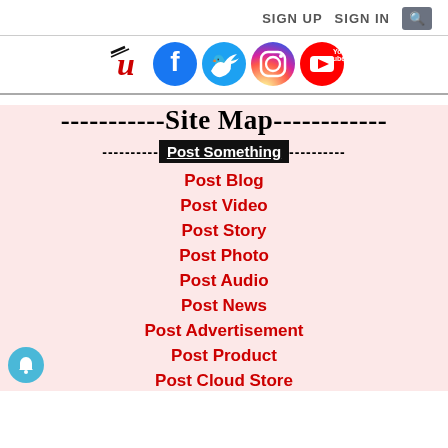SIGN UP  SIGN IN  🔍
[Figure (logo): Social media icons row: custom logo, Facebook, Twitter, Instagram, YouTube]
-----------Site Map------------
----------Post Something----------
Post Blog
Post Video
Post Story
Post Photo
Post Audio
Post News
Post Advertisement
Post Product
Post Cloud Storage